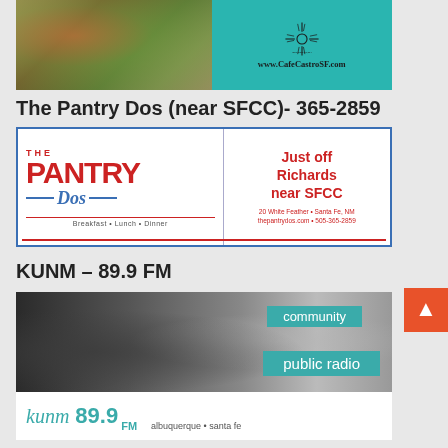[Figure (photo): Cafe Castro restaurant advertisement with food photo on left and teal brand panel on right showing Zia symbol and www.CafeCastroSF.com]
The Pantry Dos (near SFCC)- 365-2859
[Figure (photo): The Pantry Dos restaurant advertisement: red and blue logo with 'THE PANTRY Dos', Breakfast • Lunch • Dinner, Just off Richards near SFCC, 20 White Feather • Santa Fe, NM, thepantrydos.com • 505-365-2859]
KUNM – 89.9 FM
[Figure (photo): KUNM 89.9 FM community public radio advertisement with grayscale radio dial photo, teal badges reading 'community' and 'public radio', and white bar showing 'kunm 89.9 FM albuquerque • santa fe']